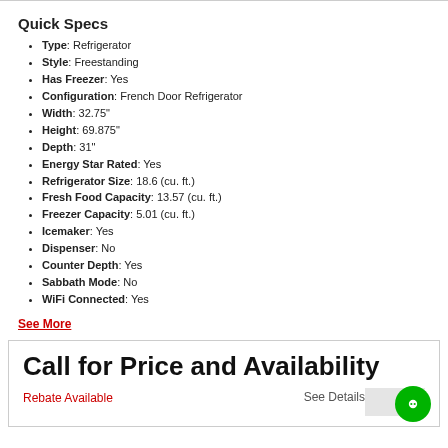Quick Specs
Type: Refrigerator
Style: Freestanding
Has Freezer: Yes
Configuration: French Door Refrigerator
Width: 32.75"
Height: 69.875"
Depth: 31"
Energy Star Rated: Yes
Refrigerator Size: 18.6 (cu. ft.)
Fresh Food Capacity: 13.57 (cu. ft.)
Freezer Capacity: 5.01 (cu. ft.)
Icemaker: Yes
Dispenser: No
Counter Depth: Yes
Sabbath Mode: No
WiFi Connected: Yes
See More
Call for Price and Availability
Rebate Available
See Details